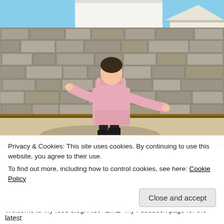[Figure (photo): A woman in a pink turtleneck sweater dress and black over-the-knee boots posing in front of a large stone wall of a Japanese castle, with a sandy courtyard in the foreground and blue sky above.]
Privacy & Cookies: This site uses cookies. By continuing to use this website, you agree to their use.
To find out more, including how to control cookies, see here: Cookie Policy
Close and accept
Welcome to my food blog. Also "LIKE" my Facebook page for the latest